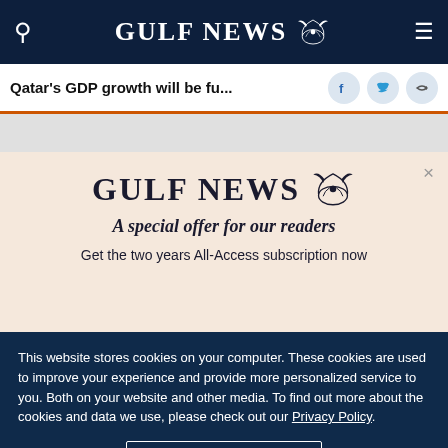GULF NEWS
Qatar's GDP growth will be fu...
[Figure (screenshot): Gulf News subscription popup with logo, offer text 'A special offer for our readers', and subscription call-to-action]
This website stores cookies on your computer. These cookies are used to improve your experience and provide more personalized service to you. Both on your website and other media. To find out more about the cookies and data we use, please check out our Privacy Policy.
OK